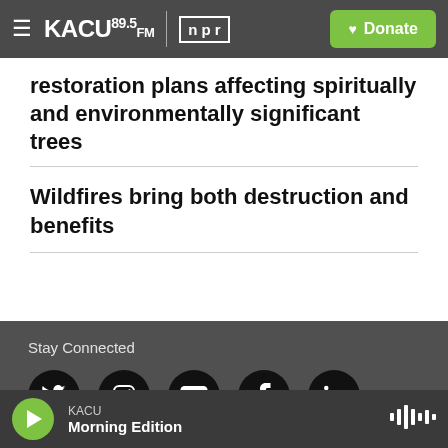KACU 89.5 FM | NPR — Donate
restoration plans affecting spiritually and environmentally significant trees
Wildfires bring both destruction and benefits
Stay Connected
[Figure (infographic): Social media icons row: Twitter, Instagram, YouTube, Facebook, LinkedIn — white icons on black circles]
© 2023 KACU 89.5
KACU Morning Edition — player bar with play button and waveform icon